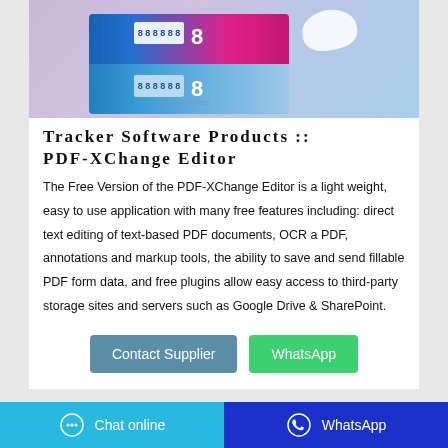[Figure (photo): Product photo of feminine hygiene pads in pink/blue packaging with number 8 on label, reflected surface]
Tracker Software Products :: PDF-XChange Editor
The Free Version of the PDF-XChange Editor is a light weight, easy to use application with many free features including: direct text editing of text-based PDF documents, OCR a PDF, annotations and markup tools, the ability to save and send fillable PDF form data, and free plugins allow easy access to third-party storage sites and servers such as Google Drive & SharePoint.
Contact Supplier
WhatsApp
Chat online   WhatsApp